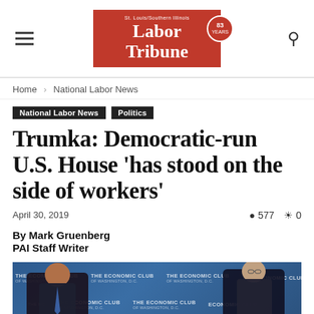Labor Tribune
Home › National Labor News
National Labor News  Politics
Trumka: Democratic-run U.S. House 'has stood on the side of workers'
April 30, 2019  👁 577  💬 0
By Mark Gruenberg
PAI Staff Writer
[Figure (photo): Two men in suits seated at The Economic Club of Washington, D.C. event, with branded backdrop visible behind them.]